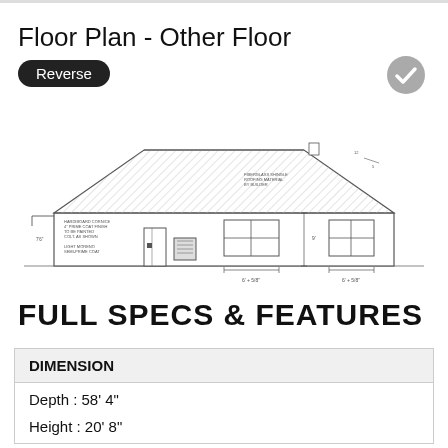Floor Plan - Other Floor
Reverse
[Figure (engineering-diagram): Architectural elevation drawing of a single-story house showing roof profile, windows, front door, HVAC unit, and dimension annotations. The house has a hip roof with cross-hatching, multiple windows, a front entry door, and various dimension callouts.]
FULL SPECS & FEATURES
| DIMENSION |
| --- |
| Depth : 58' 4" |
| Height : 20' 8" |